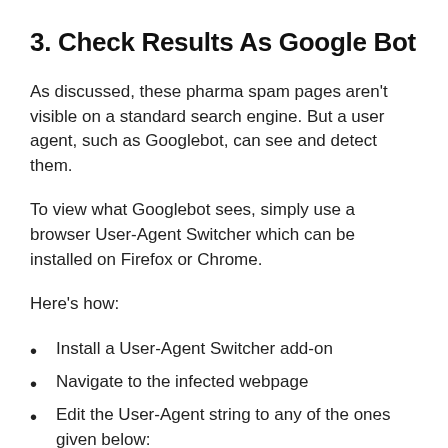3. Check Results As Google Bot
As discussed, these pharma spam pages aren't visible on a standard search engine. But a user agent, such as Googlebot, can see and detect them.
To view what Googlebot sees, simply use a browser User-Agent Switcher which can be installed on Firefox or Chrome.
Here's how:
Install a User-Agent Switcher add-on
Navigate to the infected webpage
Edit the User-Agent string to any of the ones given below:
Mozilla/5.0 (compatible;